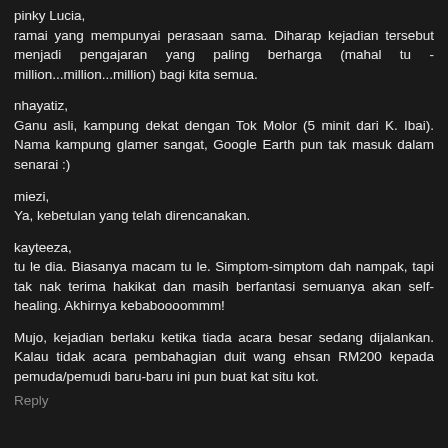pinky Lucia,
ramai yang mempunyai perasaan sama. Diharap kejadian tersebut menjadi pengajaran yang paling berharga (mahal tu - million...million...million) bagi kita semua.
nhayatiz,
Ganu asli, kampung dekat dengan Tok Molor (5 minit dari K. Ibai). Nama kampung glamer sangat, Google Earth pun tak masuk dalam senarai :)
miezi,
Ya, kebetulan yang telah direncanakan.
kayteeza,
tu le dia. Biasanya macam tu le. Simptom-simptom dah nampak, tapi tak nak terima hakikat dan masih berfantasi semuanya akan self-healing. Akhirnya kebaboooommm!
Mujo, kejadian berlaku ketika tiada acara besar sedang dijalankan. Kalau tidak acara pembahagian duit wang ehsan RM200 kepada pemuda/pemudi baru-baru ini pun buat kat situ kot.
Reply